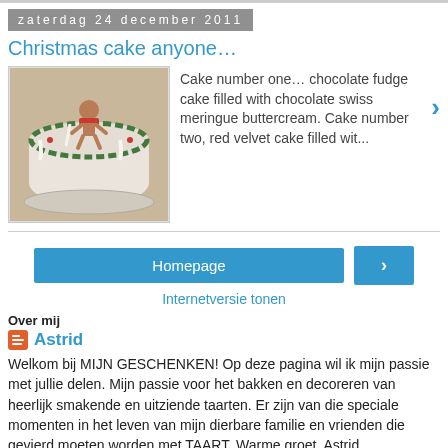zaterdag 24 december 2011
Christmas cake anyone…
[Figure (photo): A decorated Christmas cake with figurines on top, white round cake with holly decoration]
Cake number one… chocolate fudge cake filled with chocolate swiss meringue buttercream. Cake number two, red velvet cake filled wit...
Homepage
›
Internetversie tonen
Over mij
Astrid
Welkom bij MIJN GESCHENKEN! Op deze pagina wil ik mijn passie met jullie delen. Mijn passie voor het bakken en decoreren van heerlijk smakende en uitziende taarten. Er zijn van die speciale momenten in het leven van mijn dierbare familie en vrienden die gevierd moeten worden met TAART. Warme groet, Astrid
Mijn volledige profiel tonen